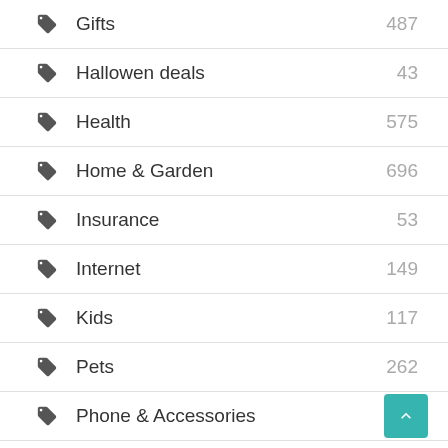Gifts 487
Hallowen deals 43
Health 575
Home & Garden 696
Insurance 53
Internet 149
Kids 117
Pets 262
Phone & Accessories 177
Recreation